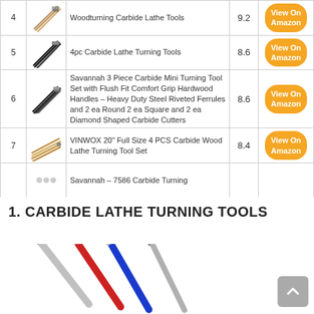| # | Image | Name | Score | Link |
| --- | --- | --- | --- | --- |
| 4 | [img] | Woodturning Carbide Lathe Tools | 9.2 | View On Amazon |
| 5 | [img] | 4pc Carbide Lathe Turning Tools | 8.6 | View On Amazon |
| 6 | [img] | Savannah 3 Piece Carbide Mini Turning Tool Set with Flush Fit Comfort Grip Hardwood Handles - Heavy Duty Steel Riveted Ferrules and 2 ea Round 2 ea Square and 2 ea Diamond Shaped Carbide Cutters | 8.6 | View On Amazon |
| 7 | [img] | VINWOX 20" Full Size 4 PCS Carbide Wood Lathe Turning Tool Set | 8.4 | View On Amazon |
| 8 | [img] | Savannah – 7586 Carbide Turning |  |  |
1. CARBIDE LATHE TURNING TOOLS
[Figure (photo): Photo of carbide lathe turning tools - silver, red and blue metallic rods/tools arranged diagonally]